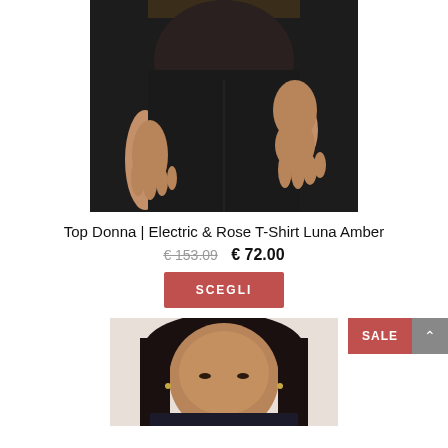[Figure (photo): Close-up photo of a female model wearing black high-waisted pants, showing torso and hands area against dark background]
Top Donna | Electric & Rose T-Shirt Luna Amber
€153.09 € 72.00
SCEGLI
[Figure (photo): Second product photo showing a female model from head/shoulders, wearing dark clothing, with a SALE badge overlay in the corner]